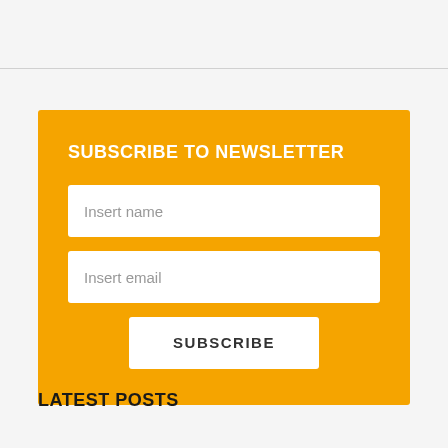SUBSCRIBE TO NEWSLETTER
Insert name
Insert email
SUBSCRIBE
LATEST POSTS